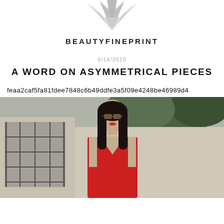[Figure (logo): Geometric diamond/crystal logo mark in light gray at the top center of the page]
BEAUTYFINEPRINT
9/14/2018
A WORD ON ASYMMETRICAL PIECES
feaa2caf5fa81fdee7848c6b49ddfe3a5f09e4248be46989d4
[Figure (photo): A young woman with long dark hair wearing sunglasses and a red sleeveless top, photographed outdoors in front of a building with foliage in the background]